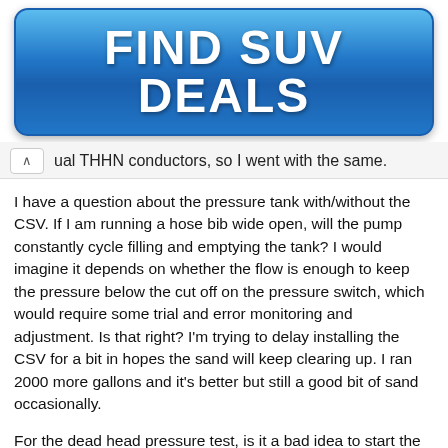[Figure (other): Blue gradient button advertisement reading FIND SUV DEALS]
ual THHN conductors, so I went with the same.
I have a question about the pressure tank with/without the CSV. If I am running a hose bib wide open, will the pump constantly cycle filling and emptying the tank? I would imagine it depends on whether the flow is enough to keep the pressure below the cut off on the pressure switch, which would require some trial and error monitoring and adjustment. Is that right? I'm trying to delay installing the CSV for a bit in hopes the sand will keep clearing up. I ran 2000 more gallons and it's better but still a good bit of sand occasionally.
For the dead head pressure test, is it a bad idea to start the pump dead headed? I would imagine if there was any air in the line, it would skew the reading, but I'm having trouble figuring out an easy way to plumb it.